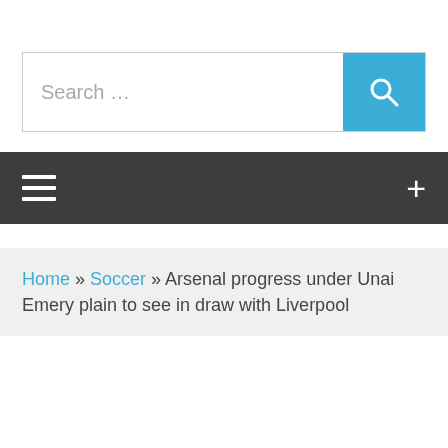[Figure (screenshot): Search bar with text placeholder 'Search ...' and a blue search button with magnifying glass icon]
[Figure (screenshot): Dark gray navigation bar with hamburger menu icon on left and plus (+) icon on right]
Home » Soccer » Arsenal progress under Unai Emery plain to see in draw with Liverpool